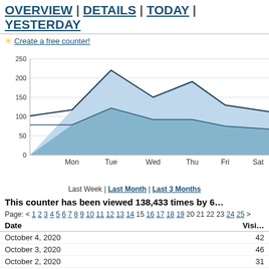OVERVIEW | DETAILS | TODAY | YESTERDAY
✳ Create a free counter!
[Figure (area-chart): Last Week visits]
Last Week | Last Month | Last 3 Months
This counter has been viewed 138,433 times by 6…
Page: < 1 2 3 4 5 6 7 8 9 10 11 12 13 14 15 16 17 18 19 20 21 22 23 24 25 >
| Date | Visi… |
| --- | --- |
| October 4, 2020 | 42 |
| October 3, 2020 | 46 |
| October 2, 2020 | 31 |